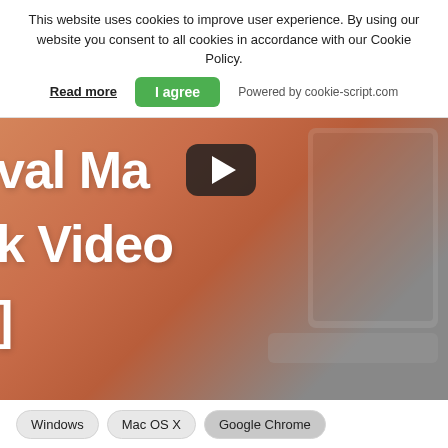This website uses cookies to improve user experience. By using our website you consent to all cookies in accordance with our Cookie Policy.
Read more | I agree | Powered by cookie-script.com
[Figure (screenshot): A video thumbnail showing a MacBook laptop with large white bold text overlay reading 'val Ma', 'k Video', and ']' with a YouTube-style play button in the center-top area. The background is a warm orange-pink gradient with the laptop keyboard visible on the right side.]
Windows  Mac OS X  Google Chrome
Mozilla Firefox  Internet Explorer  Safari (partially visible)